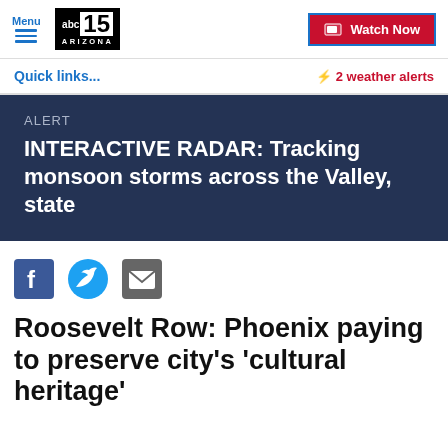Menu | abc15 ARIZONA | Watch Now
Quick links...
⚡ 2 weather alerts
ALERT
INTERACTIVE RADAR: Tracking monsoon storms across the Valley, state
[Figure (other): Social share icons: Facebook, Twitter, Email]
Roosevelt Row: Phoenix paying to preserve city's 'cultural heritage'